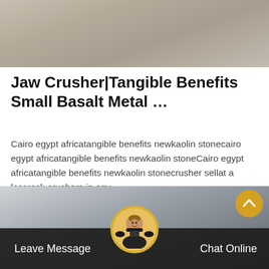[Figure (photo): Top portion of a stone/concrete textured surface, gray-beige color]
Jaw Crusher|Tangible Benefits Small Basalt Metal …
Cairo egypt africatangible benefits newkaolin stonecairo egypt africatangible benefits newkaolin stoneCairo egypt africatangible benefits newkaolin stonecrusher sellat a lossrock crushers in egy…
Get Price
[Figure (photo): Bottom industrial/factory interior image with dark tones]
Leave Message   Chat Online